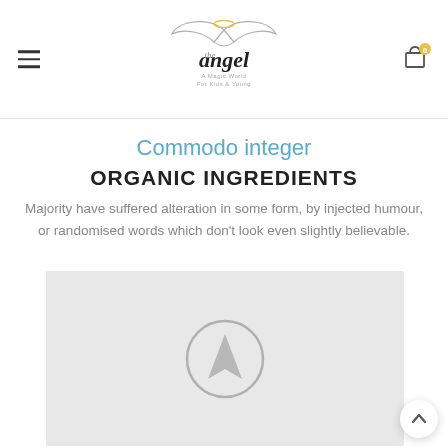The Angel — logo header with hamburger menu and cart (0 items)
Commodo integer
ORGANIC INGREDIENTS
Majority have suffered alteration in some form, by injected humour, or randomised words which don't look even slightly believable.
[Figure (map): Map placeholder with a navigation/location arrow icon in the center on a light grey background]